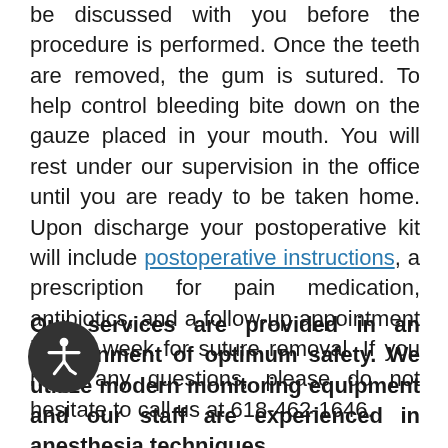be discussed with you before the procedure is performed. Once the teeth are removed, the gum is sutured. To help control bleeding bite down on the gauze placed in your mouth. You will rest under our supervision in the office until you are ready to be taken home. Upon discharge your postoperative kit will include postoperative instructions, a prescription for pain medication, antibiotics, and a follow-up appointment in one week for suture removal. If you have any questions, please do not hesitate to call us at 618-462-1646.
Our services are provided in an environment of optimum safety. We utilize modern monitoring equipment and our staff are experienced in anesthesia techniques.